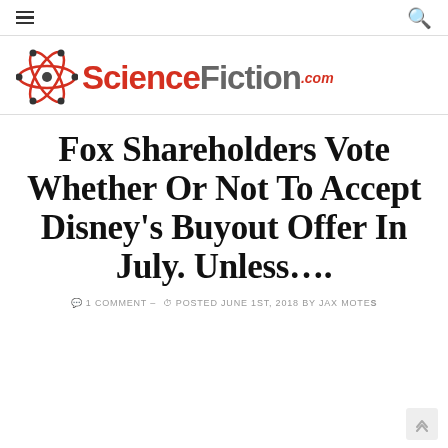≡  [hamburger menu]  |  [search icon]
[Figure (logo): ScienceFiction.com logo with atom/electron orbit icon in red and dark grey wordmark]
Fox Shareholders Vote Whether Or Not To Accept Disney's Buyout Offer In July. Unless….
1 COMMENT –  POSTED JUNE 1ST, 2018 BY JAX MOTES